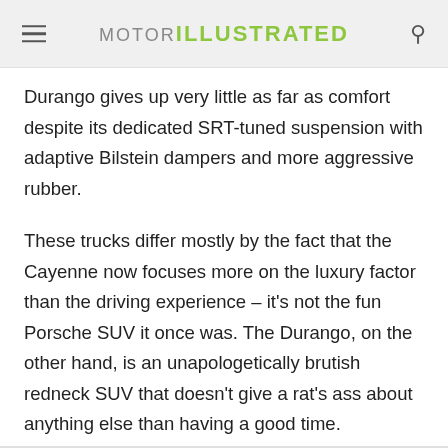MOTOR ILLUSTRATED
Durango gives up very little as far as comfort despite its dedicated SRT-tuned suspension with adaptive Bilstein dampers and more aggressive rubber.
These trucks differ mostly by the fact that the Cayenne now focuses more on the luxury factor than the driving experience – it's not the fun Porsche SUV it once was. The Durango, on the other hand, is an unapologetically brutish redneck SUV that doesn't give a rat's ass about anything else than having a good time.